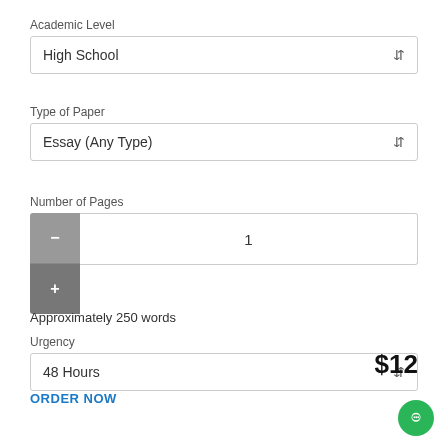Academic Level
High School
Type of Paper
Essay (Any Type)
Number of Pages
1
Approximately 250 words
Urgency
48 Hours
$12
ORDER NOW